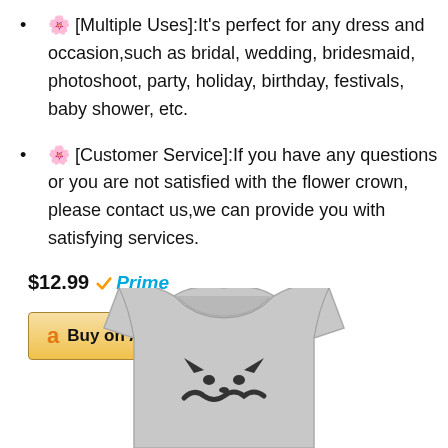🌸 [Multiple Uses]:It's perfect for any dress and occasion,such as bridal, wedding, bridesmaid, photoshoot, party, holiday, birthday, festivals, baby shower, etc.
🌸 [Customer Service]:If you have any questions or you are not satisfied with the flower crown, please contact us,we can provide you with satisfying services.
$12.99 ✓Prime
[Figure (other): Buy on Amazon button with Amazon logo]
[Figure (photo): Gray baby onesie with text/graphic on the front, shown from the upper torso area]